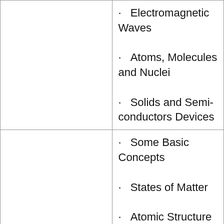Electromagnetic Waves
Atoms, Molecules and Nuclei
Solids and Semi-conductors Devices
Some Basic Concepts
States of Matter
Atomic Structure